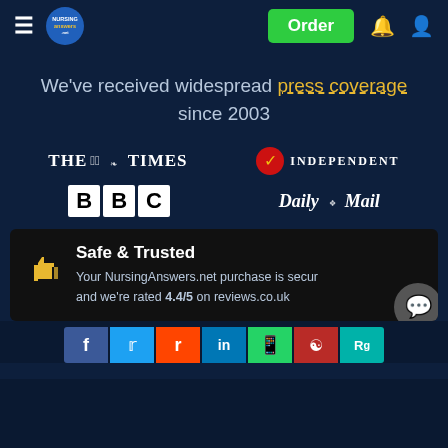NursingAnswers.net - Navigation bar with Order button
We've received widespread press coverage since 2003
[Figure (logo): The Times newspaper logo]
[Figure (logo): The Independent newspaper logo with red circle and eagle icon]
[Figure (logo): BBC logo in white boxes]
[Figure (logo): Daily Mail newspaper logo]
Safe & Trusted
Your NursingAnswers.net purchase is secur and we're rated 4.4/5 on reviews.co.uk